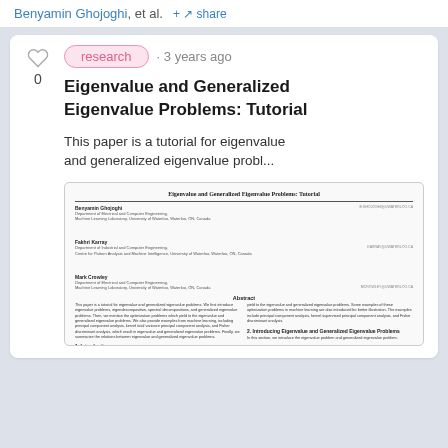Benyamin Ghojoghi, et al. · share
research · 3 years ago
Eigenvalue and Generalized Eigenvalue Problems: Tutorial
This paper is a tutorial for eigenvalue and generalized eigenvalue probl...
[Figure (screenshot): Preview thumbnail of the paper 'Eigenvalue and Generalized Eigenvalue Problems: Tutorial' showing the paper's first page with authors Benyamin Ghojoghi, Fakhri Karray, Mark Crowley, their affiliations, abstract, and beginning of sections 1 and 2.]